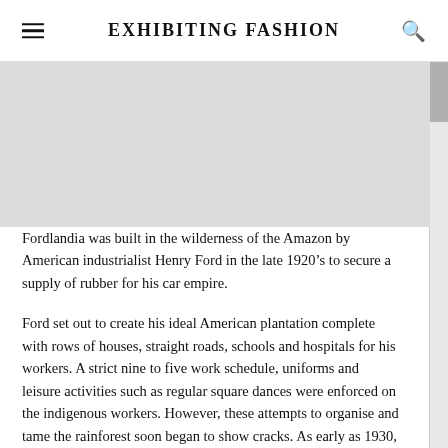EXHIBITING FASHION
[Figure (photo): Large photograph placeholder area with grey background]
Fordlandia was built in the wilderness of the Amazon by American industrialist Henry Ford in the late 1920’s to secure a supply of rubber for his car empire.
Ford set out to create his ideal American plantation complete with rows of houses, straight roads, schools and hospitals for his workers. A strict nine to five work schedule, uniforms and leisure activities such as regular square dances were enforced on the indigenous workers. However, these attempts to organise and tame the rainforest soon began to show cracks. As early as 1930, his labourers staged the first of many revolts against the strict behavioural controls imposed. Ford’s attempts to outwit the rubber tree’s natural predators also did not go as well as